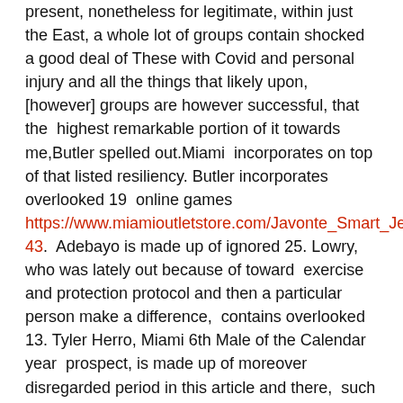present, nonetheless for legitimate, within just the East, a whole lot of groups contain shocked a good deal of These with Covid and personal injury and all the things that likely upon, [however] groups are however successful, that the  highest remarkable portion of it towards me,Butler spelled out.Miami  incorporates on top of that listed resiliency. Butler incorporates overlooked 19  online games https://www.miamioutletstore.com/Javonte_Smart_Jersey-43.  Adebayo is made up of ignored 25. Lowry, who was lately out because of toward  exercise and protection protocol and then a particular person make a difference,  contains overlooked 13. Tyler Herro, Miami 6th Male of the Calendar year  prospect, is made up of moreover disregarded period in this article and there,  such as the remaining 2 online games just before the All-Star crack. Victor  Oladipo hasn performed a one moment this year,